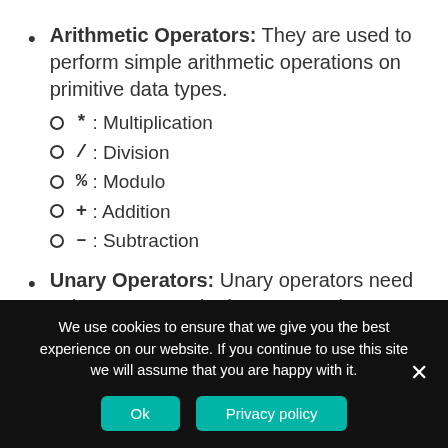Arithmetic Operators: They are used to perform simple arithmetic operations on primitive data types.
*: Multiplication
/: Division
%: Modulo
+: Addition
-: Subtraction
Unary Operators: Unary operators need only one operand. They are used to increment, decrement or negate a value.
We use cookies to ensure that we give you the best experience on our website. If you continue to use this site we will assume that you are happy with it.